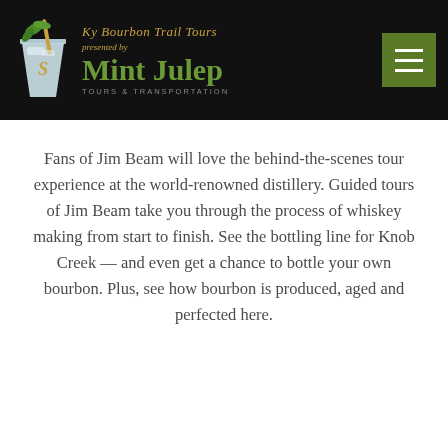[Figure (logo): KY Bourbon Trail Tours presented by Mint Julep Tours & Transportation logo with mint julep glass graphic on black header bar, plus green hamburger menu button]
Fans of Jim Beam will love the behind-the-scenes tour experience at the world-renowned distillery. Guided tours of Jim Beam take you through the process of whiskey making from start to finish. See the bottling line for Knob Creek — and even get a chance to bottle your own bourbon. Plus, see how bourbon is produced, aged and perfected here.